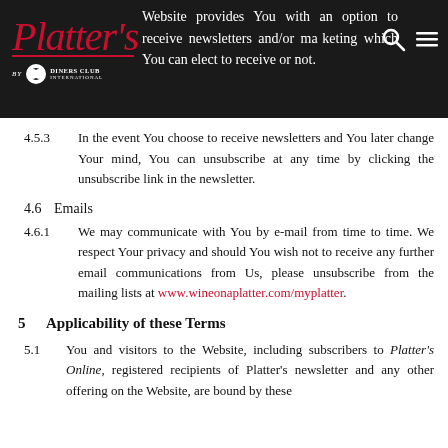Website provides You with an option to receive newsletters and/or marketing which You can elect to receive or not.
4.5.3  In the event You choose to receive newsletters and You later change Your mind, You can unsubscribe at any time by clicking the unsubscribe link in the newsletter.
4.6  Emails
4.6.1  We may communicate with You by e-mail from time to time. We respect Your privacy and should You wish not to receive any further email communications from Us, please unsubscribe from the mailing lists at www.wineonaplatter.com/myplatter.
5  Applicability of these Terms
5.1  You and visitors to the Website, including subscribers to Platter's Online, registered recipients of Platter's newsletter and any other offering on the Website, are bound by these